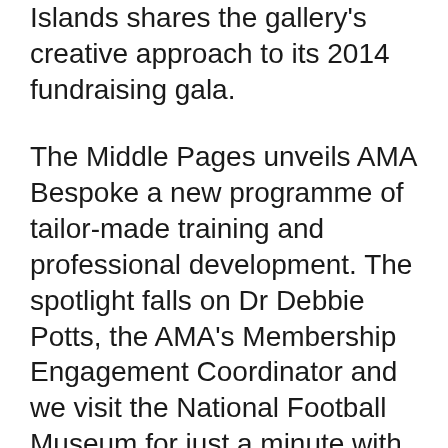Islands shares the gallery's creative approach to its 2014 fundraising gala.
The Middle Pages unveils AMA Bespoke a new programme of tailor-made training and professional development. The spotlight falls on Dr Debbie Potts, the AMA's Membership Engagement Coordinator and we visit the National Football Museum for just a minute with Adam Comstive.
Any thoughts, comments or suggestions for JAM? Please email the Editor.